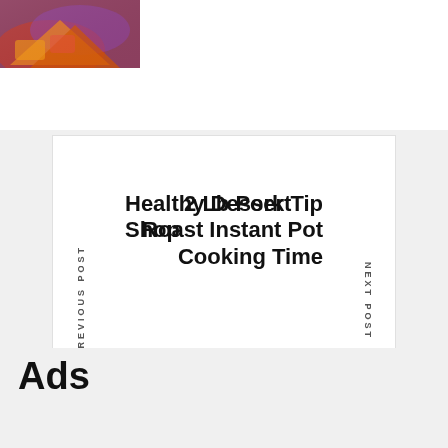[Figure (photo): Food photo showing tacos or wraps with purple/red cabbage and colorful ingredients]
PREVIOUS POST
Healthy Dessert Shop
2 Lb Pork Tip Roast Instant Pot Cooking Time
NEXT POST
Ads